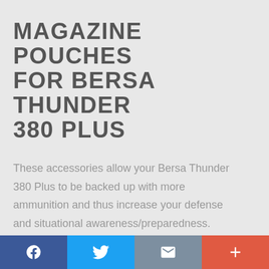MAGAZINE POUCHES FOR BERSA THUNDER 380 PLUS
These accessories allow your Bersa Thunder 380 Plus to be backed up with more ammunition and thus increase your defense and situational awareness/preparedness. Recommended for those, who wish to have more resources and don't mind extra weight.
Social share bar: Facebook, Twitter, Email, Plus